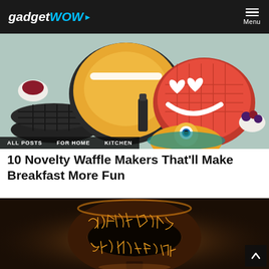gadgetWOW — Menu
[Figure (photo): Waffle makers with colorful novelty waffles including a smiley face red waffle and a minion pancake, with berries and jam on a kitchen counter]
ALL POSTS
FOR HOME
KITCHEN
10 Novelty Waffle Makers That'll Make Breakfast More Fun
[Figure (photo): The One Ring from Lord of the Rings glowing with golden elvish script on a dark background with warm ambient light]